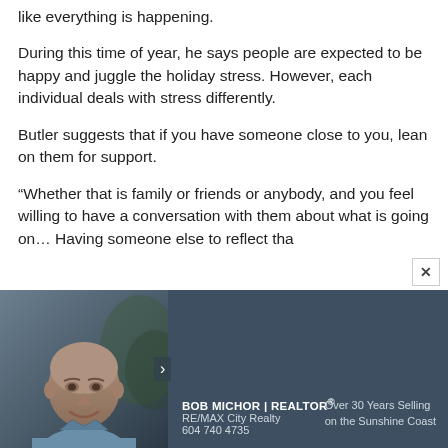like everything is happening.
During this time of year, he says people are expected to be happy and juggle the holiday stress. However, each individual deals with stress differently.
Butler suggests that if you have someone close to you, lean on them for support.
“Whether that is family or friends or anybody, and you feel willing to have a conversation with them about what is going on… Having someone else to reflect tha
[Figure (photo): Advertisement banner for Bob Michor, Realtor at RE/MAX City Realty. Features a headshot photo of an older bald man smiling, wearing a light blue shirt. Dark blue-grey background. Text reads: BOB MICHOR | REALTOR, RE/MAX City Realty, 604 740 4735, Over 30 Years Selling on the Sunshine Coast.]